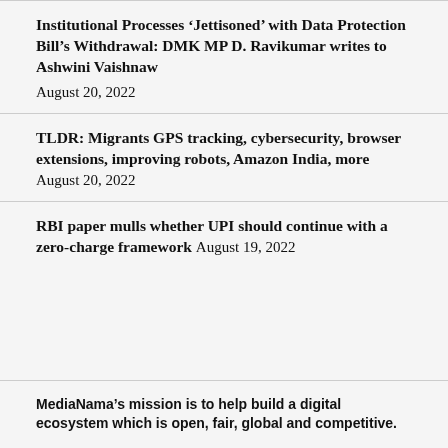Institutional Processes ‘Jettisoned’ with Data Protection Bill’s Withdrawal: DMK MP D. Ravikumar writes to Ashwini Vaishnaw
August 20, 2022
TLDR: Migrants GPS tracking, cybersecurity, browser extensions, improving robots, Amazon India, more
August 20, 2022
RBI paper mulls whether UPI should continue with a zero-charge framework
August 19, 2022
MediaNama’s mission is to help build a digital ecosystem which is open, fair, global and competitive.